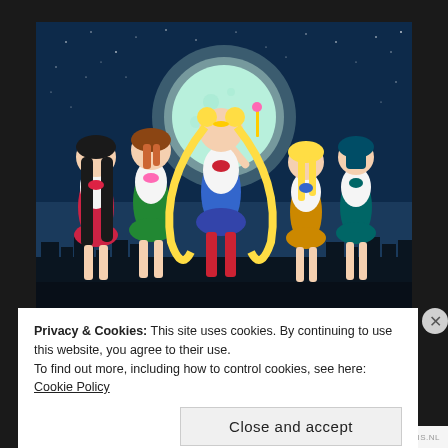[Figure (illustration): Anime illustration showing five Sailor Moon characters standing heroically in front of a large glowing teal moon against a dark blue starry night sky with a city silhouette in the background. The central character (Sailor Moon) strikes a pose holding a wand aloft, flanked by four other sailor scouts in colorful uniforms.]
Privacy & Cookies: This site uses cookies. By continuing to use this website, you agree to their use.
To find out more, including how to control cookies, see here: Cookie Policy
Close and accept